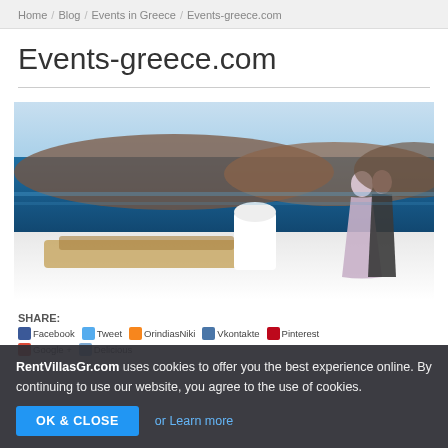Home / Blog / Events in Greece / Events-greece.com
Events-greece.com
[Figure (photo): Photo of a couple (woman in silver evening gown and man in dark suit) posing on a white Santorini rooftop terrace with a panoramic view of the Aegean Sea, caldera cliffs, and a traditional wooden boat in the foreground.]
SHARE:
Facebook  Tweet  OrindiasNiki  Vkontakte  Pinterest
Google +  Delicious
RentVillasGr.com uses cookies to offer you the best experience online. By continuing to use our website, you agree to the use of cookies.  OK & CLOSE  or Learn more